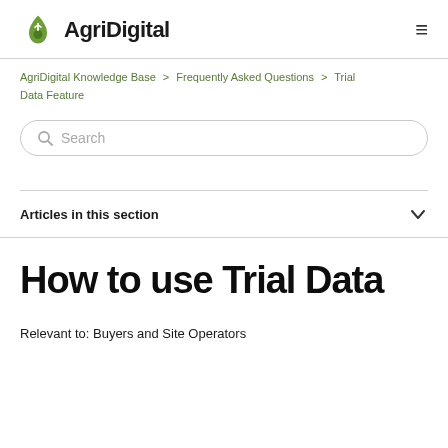AgriDigital
AgriDigital Knowledge Base > Frequently Asked Questions > Trial Data Feature
Search
Articles in this section
How to use Trial Data
Relevant to: Buyers and Site Operators